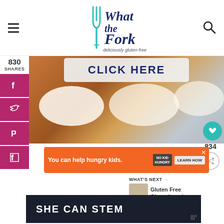What the Fork — deliciously gluten-free
830
SHARES
[Figure (photo): Close-up food photo of cinnamon rolls with cream cheese frosting in a pan, with a 'CLICK HERE' button overlay]
[Figure (infographic): Social sharing sidebar with Facebook, Twitter, Pinterest, Flipboard icons in magenta]
[Figure (infographic): Orange advertisement banner: 'You can help hungry kids. NO KID HUNGRY LEARN HOW']
[Figure (infographic): What's Next panel showing thumbnail and text 'Gluten Free Gingerbread...']
[Figure (infographic): Dark banner with text 'SHE CAN STEM']
834